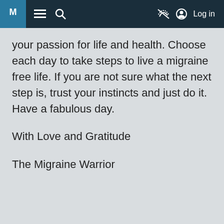M ≡ 🔍 🔇 ⊙ Log in
your passion for life and health. Choose each day to take steps to live a migraine free life. If you are not sure what the next step is, trust your instincts and just do it. Have a fabulous day.
With Love and Gratitude
The Migraine Warrior